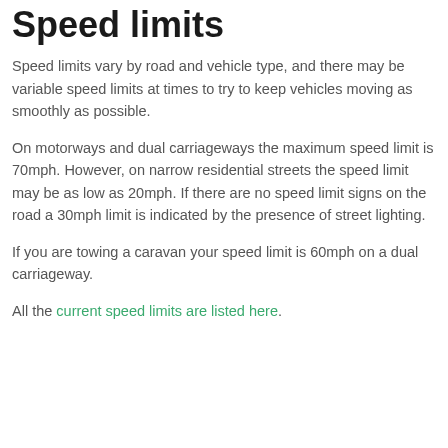Speed limits
Speed limits vary by road and vehicle type, and there may be variable speed limits at times to try to keep vehicles moving as smoothly as possible.
On motorways and dual carriageways the maximum speed limit is 70mph. However, on narrow residential streets the speed limit may be as low as 20mph. If there are no speed limit signs on the road a 30mph limit is indicated by the presence of street lighting.
If you are towing a caravan your speed limit is 60mph on a dual carriageway.
All the current speed limits are listed here.